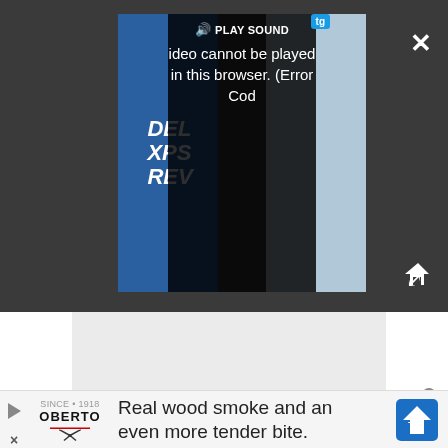[Figure (screenshot): Video player overlay on dark gray background showing a video thumbnail with Dell XPS REV text on blue background on left side and laptop on right side. An error overlay reads 'PLAY SOUND / ideo cannot be played in this browser. (Error Cod'. Close button (X) top right, expand/fullscreen button bottom right, tg badge top right of video.]
[Figure (screenshot): Gray placeholder content block below the video player area on white background.]
[Figure (screenshot): Advertisement bar at bottom: Oberto logo on left, text 'Real wood smoke and an even more tender bite.' in center, blue navigation arrow icon on right. Play and close controls on far left.]